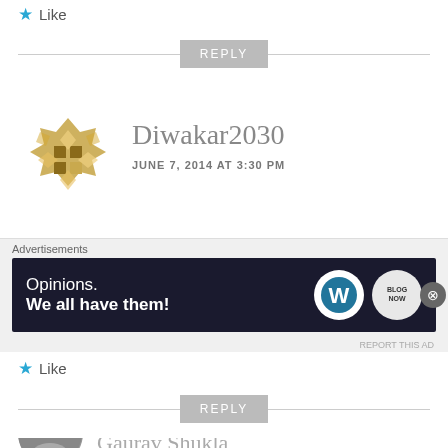Like
REPLY
Diwakar2030
JUNE 7, 2014 AT 3:30 PM
Out of stock already when I checked @3PM
Like
REPLY
Gaurav Shukla
Advertisements
Opinions.
We all have them!